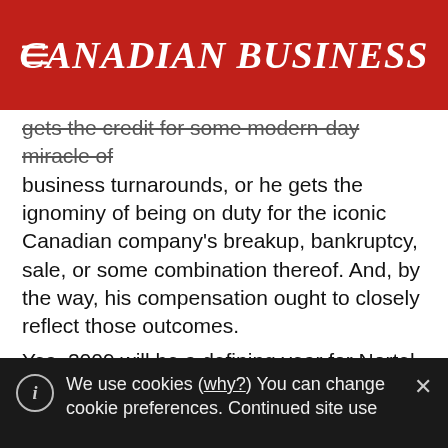CANADIAN BUSINESS
gets the credit for some modern-day miracle of business turnarounds, or he gets the ignominy of being on duty for the iconic Canadian company's breakup, bankruptcy, sale, or some combination thereof. And, by the way, his compensation ought to closely reflect those outcomes.
Yes, 2009 will be a defining year for Nortel and Zafirovski. But their fates are inextricably linked. Showing him the door, probably with a big payout, would only let him off the hook.
We use cookies (why?) You can change cookie preferences. Continued site use